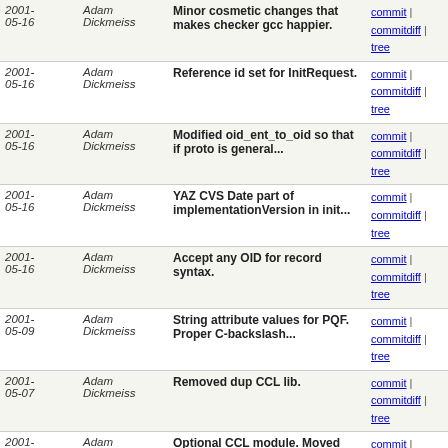| Date | Author | Message | Links |
| --- | --- | --- | --- |
| 2001-05-16 | Adam Dickmeiss | Minor cosmetic changes that makes checker gcc happier. | commit | commitdiff | tree |
| 2001-05-16 | Adam Dickmeiss | Reference id set for InitRequest. | commit | commitdiff | tree |
| 2001-05-16 | Adam Dickmeiss | Modified oid_ent_to_oid so that if proto is general... | commit | commitdiff | tree |
| 2001-05-16 | Adam Dickmeiss | YAZ CVS Date part of implementationVersion in init... | commit | commitdiff | tree |
| 2001-05-16 | Adam Dickmeiss | Accept any OID for record syntax. | commit | commitdiff | tree |
| 2001-05-09 | Adam Dickmeiss | String attribute values for PQF. Proper C-backslash... | commit | commitdiff | tree |
| 2001-05-07 | Adam Dickmeiss | Removed dup CCL lib. | commit | commitdiff | tree |
| 2001-04-06 | Adam Dickmeiss | Optional CCL module. Moved atoi_n to marcdisp.h from... | commit | commitdiff | tree |
| 2001-04-05 | Adam Dickmeiss | Minor changes. | commit | commitdiff | tree |
| 2001-04-05 | Adam Dickmeiss | New configure options: --enable-module. | commit | commitdiff | tree |
| 2001-04-02 | Adam Dickmeiss | Added this. | commit | commitdiff | tree |
| 2001-03-29 | Adam Dickmeiss | WIN version 1.7.0.5. | commit | commitdiff | tree |
| 2001-03-27 | Adam Dickmeiss | Quotes and slashes may occur within attributes. | commit | commitdiff | tree |
| 2001- | Adam | Fixed scan for bad CCL. | commit | commitdiff |